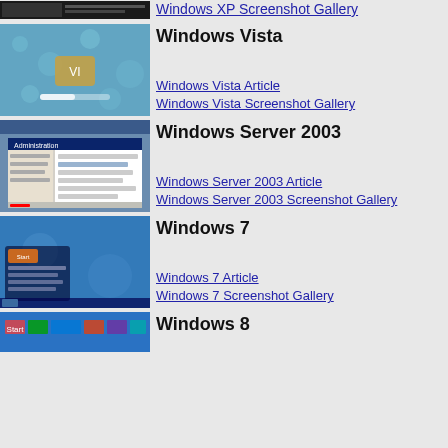[Figure (screenshot): Windows XP screenshot thumbnail]
Windows XP Screenshot Gallery
Windows Vista
[Figure (screenshot): Windows Vista boot/login screen thumbnail]
Windows Vista Article
Windows Vista Screenshot Gallery
Windows Server 2003
[Figure (screenshot): Windows Server 2003 screenshot thumbnail]
Windows Server 2003 Article
Windows Server 2003 Screenshot Gallery
Windows 7
[Figure (screenshot): Windows 7 desktop screenshot thumbnail]
Windows 7 Article
Windows 7 Screenshot Gallery
Windows 8
[Figure (screenshot): Windows 8 Start screen thumbnail]